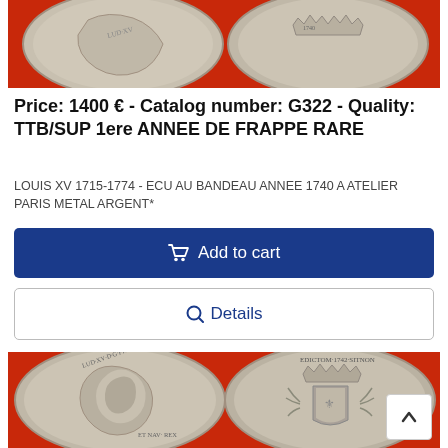[Figure (photo): Top portion of two silver coins on red background, showing partial views of both obverse and reverse sides]
Price: 1400 € - Catalog number: G322 - Quality: TTB/SUP 1ere ANNEE DE FRAPPE RARE
LOUIS XV 1715-1774 - ECU AU BANDEAU ANNEE 1740 A ATELIER PARIS METAL ARGENT*
Add to cart
Details
[Figure (photo): Two silver coins on red background: left shows Louis XV portrait profile (obverse) with inscription LUD·XV·D·G·FR· ET NAV· REX, right shows reverse with crowned coat of arms and date 1742, inscription EDICTOM·1742·SITNON and partial text]